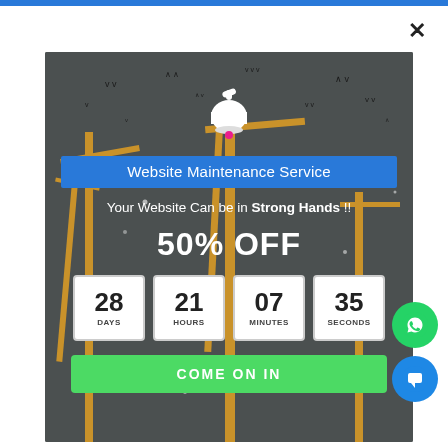[Figure (screenshot): Website maintenance service popup modal with countdown timer, bell icon, blue title bar, discount offer and green CTA button over a dark industrial/crane background with birds]
Website Maintenance Service
Your Website Can be in Strong Hands !!
50% OFF
28 DAYS  21 HOURS  07 MINUTES  35 SECONDS
COME ON IN